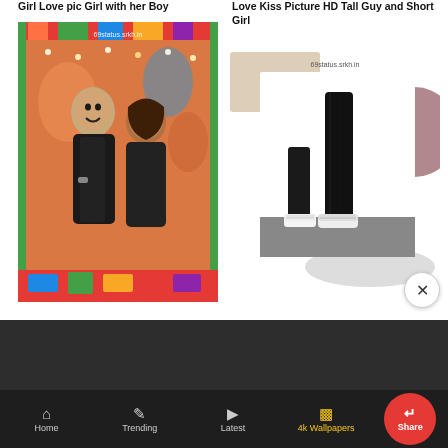Girl Love pic Girl with her Boy
[Figure (photo): Photo of a smiling couple at a colorful event, watermark: 69status.srkh.in, framed with green and red border with colorful paint splatter]
Love Kiss Picture HD Tall Guy and Short Girl
[Figure (photo): Black and white photo showing legs of a tall person and a short person standing together, with decorative beige and mauve paper shapes, watermark: 69status.srkh.in]
Home  Trending  Latest  4k Wallpapers  Share